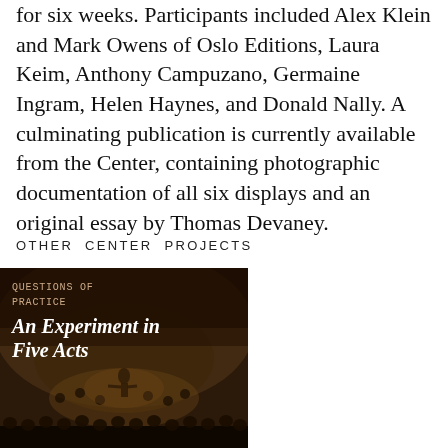for six weeks. Participants included Alex Klein and Mark Owens of Oslo Editions, Laura Keim, Anthony Campuzano, Germaine Ingram, Helen Haynes, and Donald Nally. A culminating publication is currently available from the Center, containing photographic documentation of all six displays and an original essay by Thomas Devaney.
OTHER CENTER PROJECTS
[Figure (photo): Dark-toned photograph of an orchestra hall with a conductor and audience, overlaid with text reading 'QUESTIONS OF PRACTICE' and 'An Experiment in Five Acts']